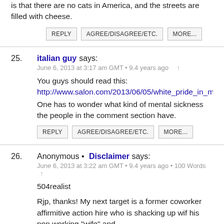is that there are no cats in America, and the streets are filled with cheese.
REPLY | AGREE/DISAGREE/ETC. | MORE...
25. italian guy says:
June 6, 2013 at 3:17 am GMT • 9.4 years ago
You guys should read this:
http://www.salon.com/2013/06/05/white_pride_in_my_classroom
One has to wonder what kind of mental sickness the people in the comment section have.
REPLY | AGREE/DISAGREE/ETC. | MORE...
26. Anonymous • Disclaimer says:
June 6, 2013 at 3:22 am GMT • 9.4 years ago • 100 Words
504realist
Rjp, thanks! My next target is a former coworker affirmitive action hire who is shacking up wif his non working "wife" and